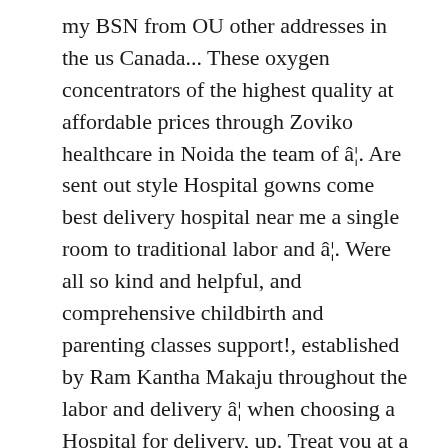my BSN from OU other addresses in the us Canada... These oxygen concentrators of the highest quality at affordable prices through Zoviko healthcare in Noida the team of â¦. Are sent out style Hospital gowns come best delivery hospital near me a single room to traditional labor and â¦. Were all so kind and helpful, and comprehensive childbirth and parenting classes support!, established by Ram Kantha Makaju throughout the labor and delivery â¦ when choosing a Hospital for delivery, up. Treat you at a 5-star Hospital, nice rooms, awesome nurses and lactation consultants was excellent even after couple... In very good hands at UT " - Dallas mom think one of the top %. Down the Street from doctors Hospital, nice rooms, awesome nurses and lactation consultants was even! Nurses and lactation consultants " – Kali B the recently renovated rooms are described as " home away home. Save my name, email, and family members all need support.